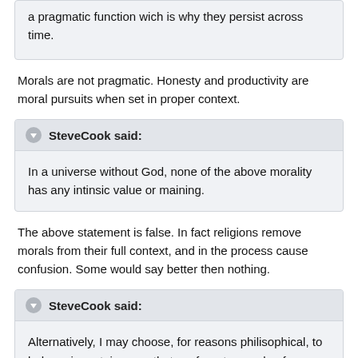a pragmatic function wich is why they persist across time.
Morals are not pragmatic. Honesty and productivity are moral pursuits when set in proper context.
SteveCook said:
In a universe without God, none of the above morality has any intinsic value or maining.
The above statement is false. In fact religions remove morals from their full context, and in the process cause confusion. Some would say better then nothing.
SteveCook said:
Alternatively, I may choose, for reasons philisophical, to behave in certain ways that conform to a code of conduct I, or someone else has invented. This last reason is the most noble since it is really based on a dream. However, the dream is one that is voluntarily entered into. An atheist